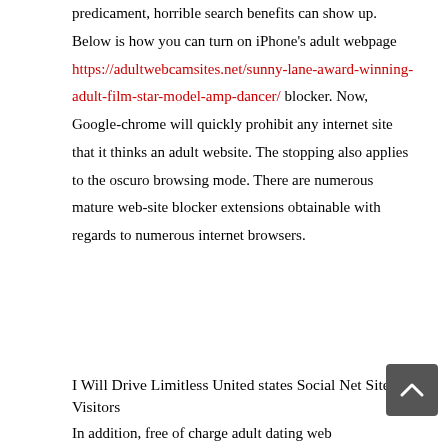predicament, horrible search benefits can show up. Below is how you can turn on iPhone's adult webpage https://adultwebcamsites.net/sunny-lane-award-winning-adult-film-star-model-amp-dancer/ blocker. Now, Google-chrome will quickly prohibit any internet site that it thinks an adult website. The stopping also applies to the oscuro browsing mode. There are numerous mature web-site blocker extensions obtainable with regards to numerous internet browsers.
I Will Drive Limitless United states Social Net Site Visitors
In addition, free of charge adult dating web